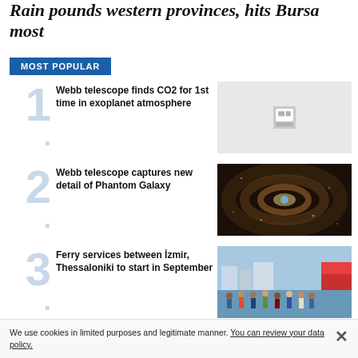Rain pounds western provinces, hits Bursa most
MOST POPULAR
Webb telescope finds CO2 for 1st time in exoplanet atmosphere
[Figure (photo): Placeholder image with media icon for Webb telescope CO2 article]
Webb telescope captures new detail of Phantom Galaxy
[Figure (photo): Spiral galaxy image (Phantom Galaxy), dark brown and blue tones]
Ferry services between İzmir, Thessaloniki to start in September
[Figure (photo): Crowd of people boarding a ferry, outdoor scene with red vehicle]
We use cookies in limited purposes and legitimate manner. You can review your data policy.